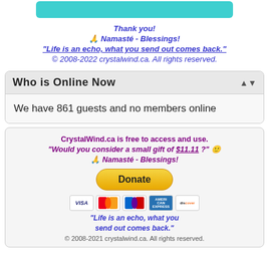[Figure (other): Teal/cyan rounded button bar at top]
Thank you!
🙏 Namasté - Blessings!
"Life is an echo, what you send out comes back."
© 2008-2022 crystalwind.ca. All rights reserved.
Who is Online Now
We have 861 guests and no members online
CrystalWind.ca is free to access and use.
"Would you consider a small gift of $11.11 ?" 🙂
🙏 Namasté - Blessings!
[Figure (other): Donate button (yellow rounded rectangle)]
[Figure (other): Payment icons: Visa, Mastercard, Maestro, American Express, Discover]
"Life is an echo, what you send out comes back."
© 2008-2021 crystalwind.ca. All rights reserved.